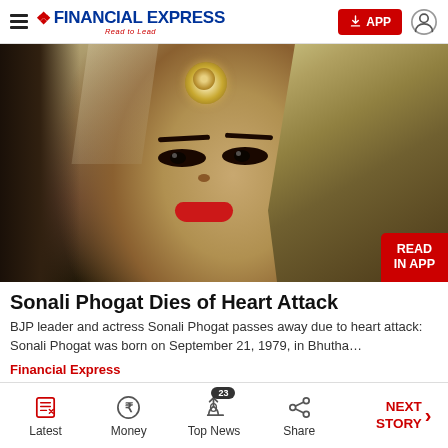Financial Express — Read to Lead
[Figure (photo): Portrait photo of Sonali Phogat wearing traditional bridal/festive attire with a maang tikka forehead ornament, red lipstick, and a dupatta/veil. Long blonde-highlighted hair visible on the right side.]
Sonali Phogat Dies of Heart Attack
BJP leader and actress Sonali Phogat passes away due to heart attack: Sonali Phogat was born on September 21, 1979, in Bhutha…
Financial Express
Latest | Money | Top News (23) | Share | NEXT STORY